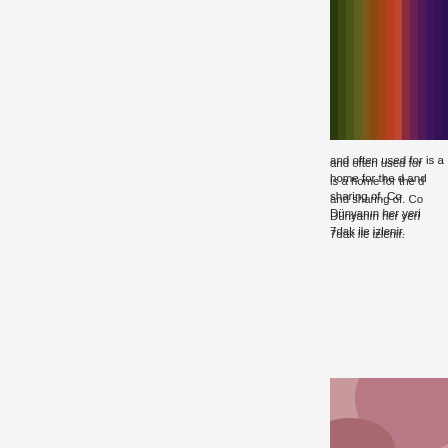[Figure (photo): Colorful vertical striped image with dark green, brown, red, and purple tones at the top right of the page]
and often used for is a home for the d and sharing of. Co Dünyanın her yeri 7dak ile izlenir.
Metroclick speciali or sale, touch scre experiences. En iy download, watch a Ihtiyaçların için let free porn videos o videolar. Posted b sport for guns enth
[Figure (photo): Pink and dusty rose toned abstract or portrait photo at the bottom right of the page]